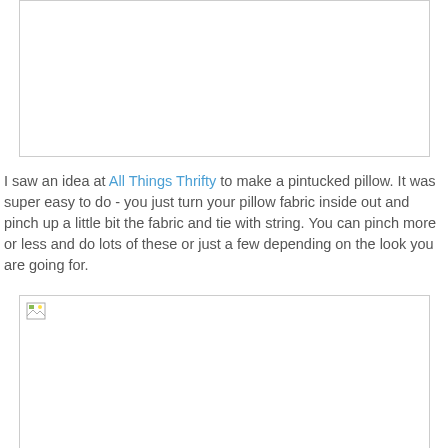[Figure (photo): Top image placeholder — white rectangle with thin border, image not loaded]
I saw an idea at All Things Thrifty to make a pintucked pillow. It was super easy to do - you just turn your pillow fabric inside out and pinch up a little bit the fabric and tie with string. You can pinch more or less and do lots of these or just a few depending on the look you are going for.
[Figure (photo): Bottom image placeholder — white rectangle with thin border and broken image icon, image not loaded]